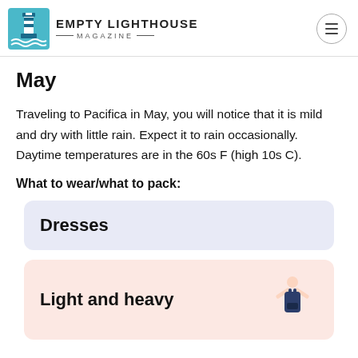EMPTY LIGHTHOUSE MAGAZINE
May
Traveling to Pacifica in May, you will notice that it is mild and dry with little rain. Expect it to rain occasionally. Daytime temperatures are in the 60s F (high 10s C).
What to wear/what to pack:
Dresses
Light and heavy